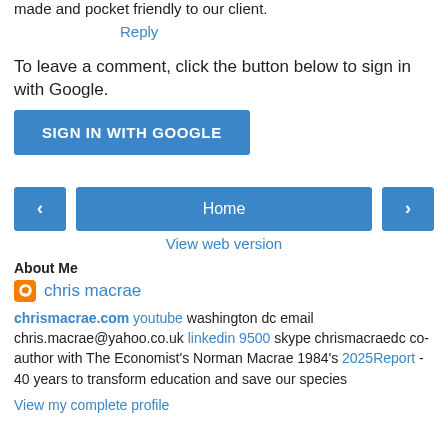made and pocket friendly to our client.
Reply
To leave a comment, click the button below to sign in with Google.
[Figure (other): Blue 'SIGN IN WITH GOOGLE' button]
[Figure (other): Navigation bar with left arrow, Home button, and right arrow buttons, plus 'View web version' link]
About Me
chris macrae
chrismacrae.com youtube washington dc email chris.macrae@yahoo.co.uk linkedin 9500 skype chrismacraedc co-author with The Economist's Norman Macrae 1984's 2025Report - 40 years to transform education and save our species
View my complete profile